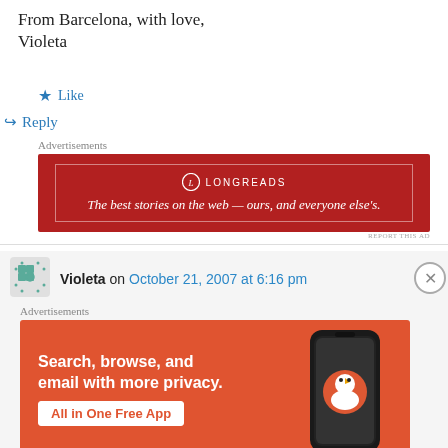From Barcelona, with love,
Violeta
★ Like
↪ Reply
Advertisements
[Figure (infographic): Longreads ad: red background, logo and text 'The best stories on the web — ours, and everyone else's.']
REPORT THIS AD
Violeta on October 21, 2007 at 6:16 pm
Advertisements
[Figure (infographic): DuckDuckGo ad: orange background, text 'Search, browse, and email with more privacy. All in One Free App', phone image with DuckDuckGo logo.]
REPORT THIS AD